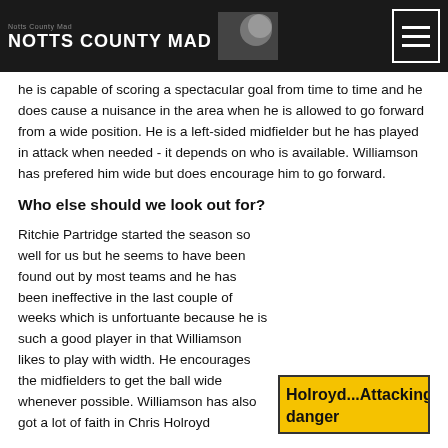NOTTS COUNTY MAD
he is capable of scoring a spectacular goal from time to time and he does cause a nuisance in the area when he is allowed to go forward from a wide position. He is a left-sided midfielder but he has played in attack when needed - it depends on who is available. Williamson has prefered him wide but does encourage him to go forward.
Who else should we look out for?
Ritchie Partridge started the season so well for us but he seems to have been found out by most teams and he has been ineffective in the last couple of weeks which is unfortuante because he is such a good player in that Williamson likes to play with width. He encourages the midfielders to get the ball wide whenever possible. Williamson has also got a lot of faith in Chris Holroyd
[Figure (other): Yellow box with bold text reading 'Holroyd...Attacking danger']